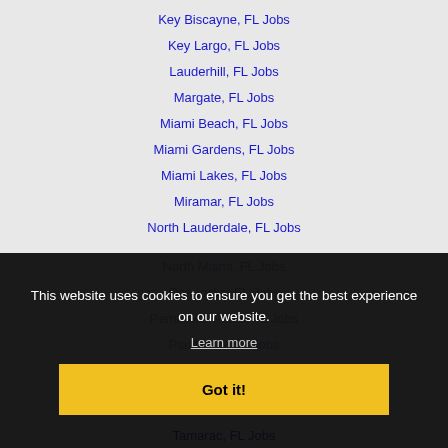Key Biscayne, FL Jobs
Key Largo, FL Jobs
Lauderhill, FL Jobs
Margate, FL Jobs
Miami Beach, FL Jobs
Miami Gardens, FL Jobs
Miami Lakes, FL Jobs
Miramar, FL Jobs
North Lauderdale, FL Jobs
North Miami, FL Jobs
Opa-locka, FL Jobs
Pembroke Pines, FL Jobs
Plantation, FL Jobs
Sunrise, FL Jobs
Tamarac, FL Jobs
This website uses cookies to ensure you get the best experience on our website. Learn more Got it!